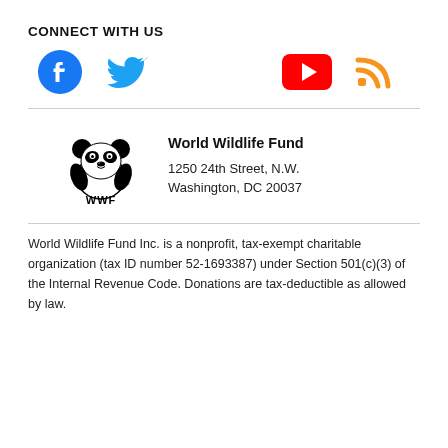CONNECT WITH US
[Figure (illustration): Social media icons: Facebook (blue circle with f), Twitter (blue bird), YouTube (red rectangle with white play button), RSS (orange wifi/feed icon)]
[Figure (logo): WWF panda logo with text WWF below]
World Wildlife Fund
1250 24th Street, N.W.
Washington, DC 20037
World Wildlife Fund Inc. is a nonprofit, tax-exempt charitable organization (tax ID number 52-1693387) under Section 501(c)(3) of the Internal Revenue Code. Donations are tax-deductible as allowed by law.